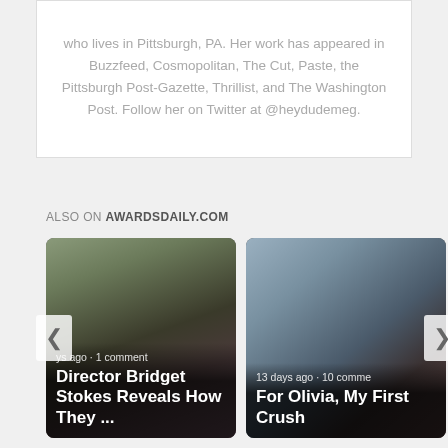who lives in Pittsburgh, PA. Her work has appeared in Buzzfeed, Cosmopolitan, The Cut, Paste, the Pittsburgh Post-Gazette, Thrillist, and The Washington Post. Follow her on Twitter at @heydudemeg.
ALSO ON AWARDSDAILY.COM
[Figure (photo): Movie still card: Director Bridget Stokes Reveals How They ... — days ago · 1 comment]
[Figure (photo): Movie still card: For Olivia, My First Crush — 13 days ago · 10 comments]